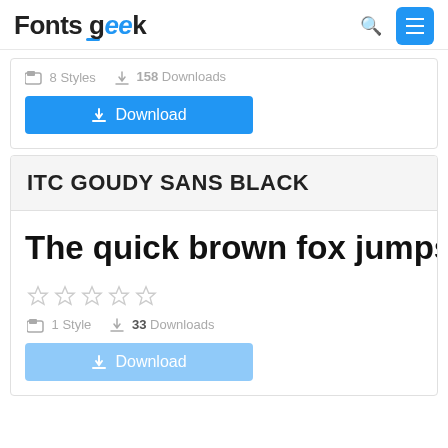Fonts Geek
8 Styles  158 Downloads
Download
ITC GOUDY SANS BLACK
The quick brown fox jumps over the la
1 Style  33 Downloads
Download